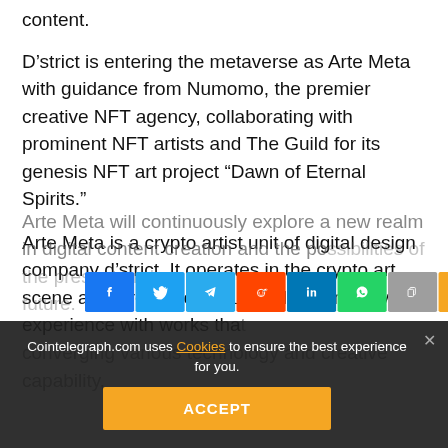content.
D'strict is entering the metaverse as Arte Meta with guidance from Numomo, the premier creative NFT agency, collaborating with prominent NFT artists and The Guild for its genesis NFT art project “Dawn of Eternal Spirits.”
Arte Meta is a crypto artist unit of digital design company d’strict. It operates in the crypto art scene as a creator of an unrivaled immersive experience with works that converging various technology and creative capability,
[Figure (other): Social sharing button bar with icons for Facebook, Twitter, Telegram, Reddit, LinkedIn, WhatsApp, Copy, and scroll-to-top]
Arte Meta will continuously explore a new realm in digital content creation and the possibilities of the present and future.
Cointelegraph.com uses Cookies to ensure the best experience for you.
ACCEPT